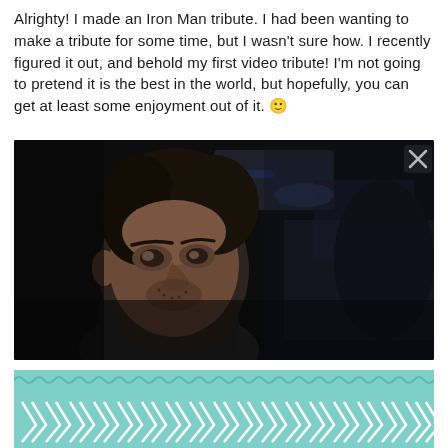Alrighty! I made an Iron Man tribute. I had been wanting to make a tribute for some time, but I wasn't sure how. I recently figured it out, and behold my first video tribute! I'm not going to pretend it is the best in the world, but hopefully, you can get at least some enjoyment out of it. 🙂
[Figure (photo): Dark screenshot from Iron Man film showing a man (Tony Stark / Robert Downey Jr.) looking upward in a dimly lit industrial setting. A white X close button appears in the top right corner of the image.]
[Figure (illustration): Decorative banner with teal/mint background featuring a row of teal wavy lines at the top and a row of white chevron/arrow shapes pointing right below it.]